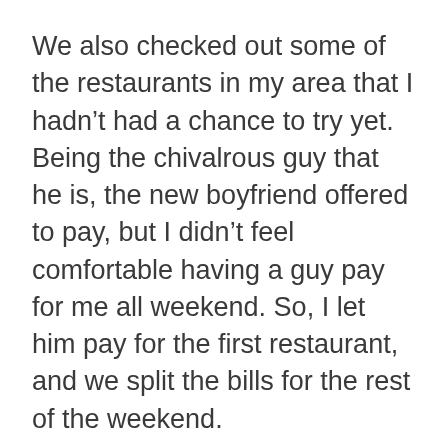We also checked out some of the restaurants in my area that I hadn't had a chance to try yet. Being the chivalrous guy that he is, the new boyfriend offered to pay, but I didn't feel comfortable having a guy pay for me all weekend. So, I let him pay for the first restaurant, and we split the bills for the rest of the weekend.
Overall, I didn't spend that much. I spent about fifty dollars on meals out for the entire weekend, a generous estimate. Most of the places we chose to eat at were reasonably cheap. It was worth it to spend some quality time with him and get to know him better